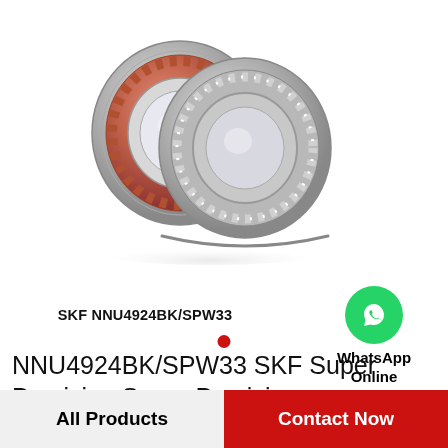[Figure (photo): Two SKF super precision cylindrical roller bearings shown side by side — one with an orange/bronze cage and one with a silver/steel cage, both showing ball bearings around the inner ring.]
SKF NNU4924BK/SPW33
[Figure (logo): WhatsApp green circle icon with white phone handset, labeled WhatsApp Online]
NNU4924BK/SPW33 SKF Super Precision,Super Precision Bearings,Cylindrical…
All Products   Contact Now